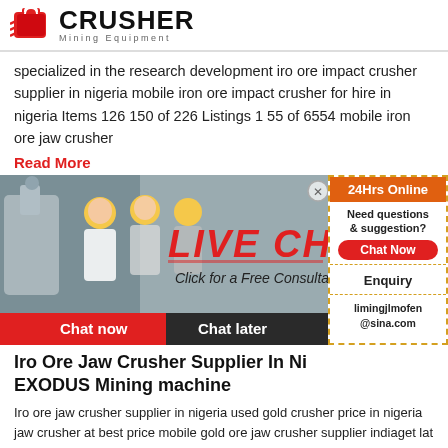[Figure (logo): Crusher Mining Equipment logo with red shopping bag icon and bold text]
specialized in the research development iro ore impact crusher supplier in nigeria mobile iron ore impact crusher for hire in nigeria Items 126 150 of 226 Listings 1 55 of 6554 mobile iron ore jaw crusher
Read More
[Figure (infographic): Live chat banner with workers in hard hats, LIVE CHAT heading, Click for a Free Consultation, Chat now and Chat later buttons, and 24Hrs Online sidebar with Need questions & suggestion, Chat Now, Enquiry, limingjlmofen@sina.com]
Iro Ore Jaw Crusher Supplier In Ni EXODUS Mining machine
Iro ore jaw crusher supplier in nigeria used gold crusher price in nigeria jaw crusher at best price mobile gold ore jaw crusher supplier indiaget lat jaw crusher suppliers manufacturers wholesaler